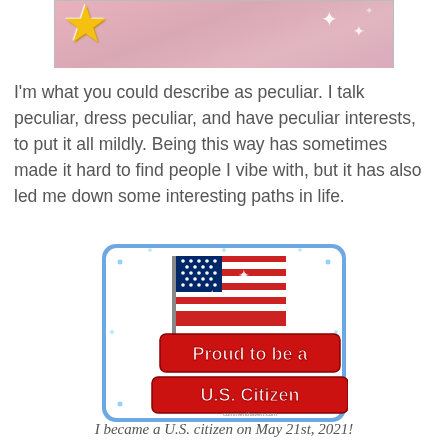[Figure (photo): Partial cropped photo showing pink plush toy and an animated yellow star character at the top]
I'm what you could describe as peculiar. I talk peculiar, dress peculiar, and have peculiar interests, to put it all mildly. Being this way has sometimes made it hard to find people I vibe with, but it has also led me down some interesting paths in life.
[Figure (illustration): Glitter-style sticker image of an American flag with text 'Proud to be a U.S. Citizen' in red bubbly letters with blue glitter border, commenthaven.com watermark]
I became a U.S. citizen on May 21st, 2021!